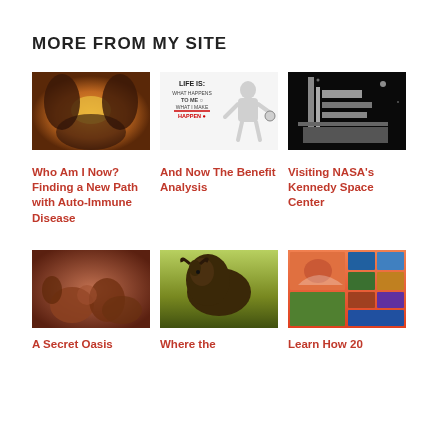MORE FROM MY SITE
[Figure (photo): Two birds on a branch with golden light background]
[Figure (photo): Life Is: What happens to me / What I make happen infographic with 3D figure]
[Figure (photo): NASA Kennedy Space Center spacecraft in dark space background]
Who Am I Now? Finding a New Path with Auto-Immune Disease
And Now The Benefit Analysis
Visiting NASA's Kennedy Space Center
[Figure (photo): Colorful rocks and desert landscape - A Secret Oasis]
[Figure (photo): Close-up of a bison face - Where the...]
[Figure (photo): Collage of nature and travel photos - Learn How 20]
A Secret Oasis
Where the
Learn How 20